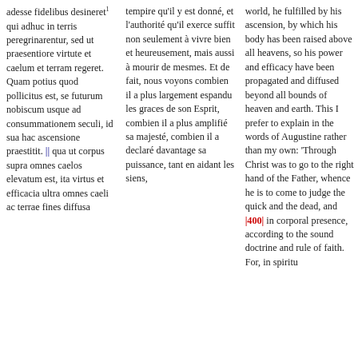adesse fidelibus desineret¹ qui adhuc in terris peregrinanentur, sed ut praesentiore virtute et caelum et terram regeret. Quam potius quod pollicitus est, se futurum nobiscum usque ad consummationem seculi, id sua hac ascensione praestitit. || qua ut corpus supra omnes caelos elevatum est, ita virtus et efficacia ultra omnes caeli ac terrae fines diffusa
tempire qu'il y est donné, et l'authorité qu'il exerce suffit non seulement à vivre bien et heureusement, mais aussi à mourir de mesmes. Et de fait, nous voyons combien il a plus largement espandu les graces de son Esprit, combien il a plus amplifié sa majesté, combien il a declaré davantage sa puissance, tant en aidant les siens,
world, he fulfilled by his ascension, by which his body has been raised above all heavens, so his power and efficacy have been propagated and diffused beyond all bounds of heaven and earth. This I prefer to explain in the words of Augustine rather than my own: 'Through Christ was to go to the right hand of the Father, whence he is to come to judge the quick and the dead, and |400| in corporal presence, according to the sound doctrine and rule of faith. For, in spiritu